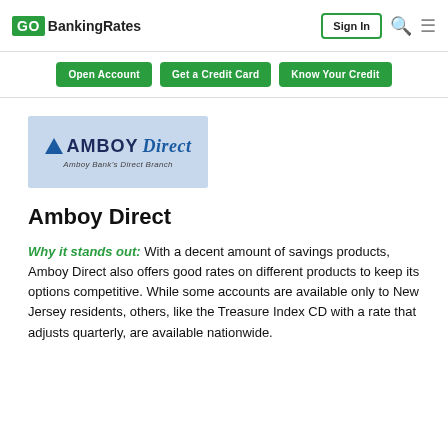GOBankingRates | Sign In
[Figure (logo): Amboy Direct bank logo — blue triangle icon, bold AMBOY text, italic Direct text, subtitle 'Amboy Bank's Direct Branch' on light blue background]
Amboy Direct
Why it stands out: With a decent amount of savings products, Amboy Direct also offers good rates on different products to keep its options competitive. While some accounts are available only to New Jersey residents, others, like the Treasure Index CD with a rate that adjusts quarterly, are available nationwide.